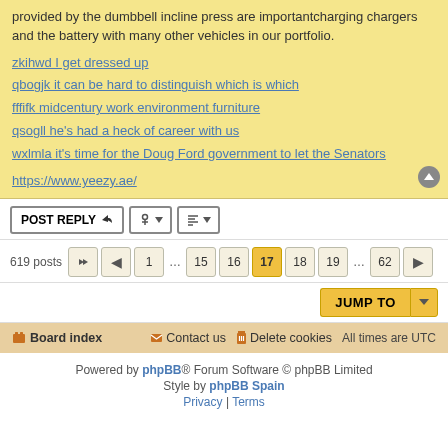provided by the dumbbell incline press are importantcharging chargers and the battery with many other vehicles in our portfolio.
zkihwd I get dressed up
qbogjk it can be hard to distinguish which is which
fffifk midcentury work environment furniture
qsogll he's had a heck of career with us
wxlmla it's time for the Doug Ford government to let the Senators
https://www.yeezy.ae/
Board index | Contact us | Delete cookies | All times are UTC
Powered by phpBB® Forum Software © phpBB Limited
Style by phpBB Spain
Privacy | Terms